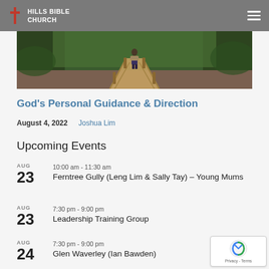Hills Bible Church
[Figure (photo): Person walking along a wooden boardwalk trail through a lush green forest]
God's Personal Guidance & Direction
August 4, 2022   Joshua Lim
Upcoming Events
AUG 23 10:00 am - 11:30 am Ferntree Gully (Leng Lim & Sally Tay) – Young Mums
AUG 23 7:30 pm - 9:00 pm Leadership Training Group
AUG 24 7:30 pm - 9:00 pm Glen Waverley (Ian Bawden)